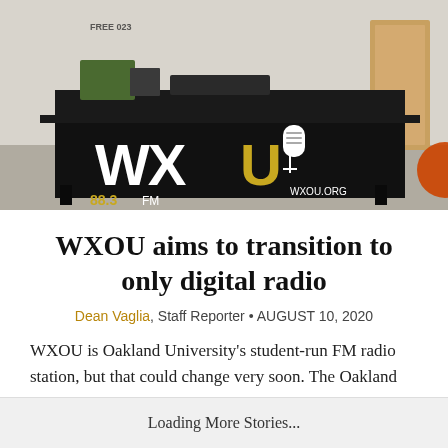[Figure (photo): A black tablecloth-covered table with a WXOU 88.3 FM radio station banner/display, showing the WXOU logo and wxou.org website. The setting appears to be an indoor event space.]
WXOU aims to transition to only digital radio
Dean Vaglia, Staff Reporter • AUGUST 10, 2020
WXOU is Oakland University's student-run FM radio station, but that could change very soon. The Oakland Center-based radio station is considering terminating their FM broadcast operations in favor of...
Loading More Stories...